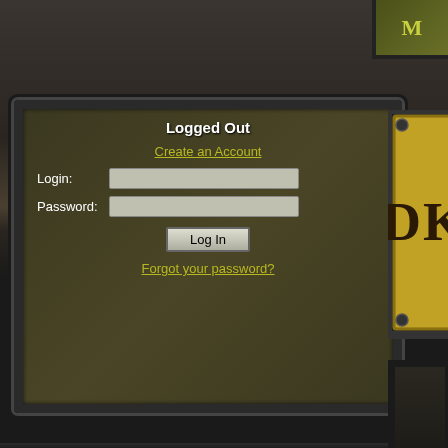[Figure (screenshot): Dark fantasy-themed web interface screenshot showing a login panel, DKPS logo, and content area with 'The Effect BC' title]
Logged Out
Create an Account
Login:
Password:
Log In
Forgot your password?
The Effect BC
The Effect B
[B
Thread T
Primary: